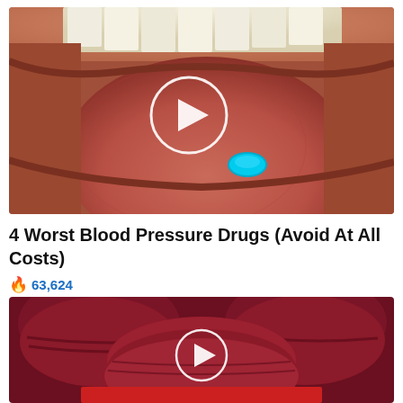[Figure (photo): Close-up photo of an open mouth with tongue extended, a small blue pill resting on the tongue, overlaid with a white circular play button icon]
4 Worst Blood Pressure Drugs (Avoid At All Costs)
🔥 63,624
[Figure (photo): Close-up photo of sliced red beets stacked on a plate, overlaid with a white circular play button icon]